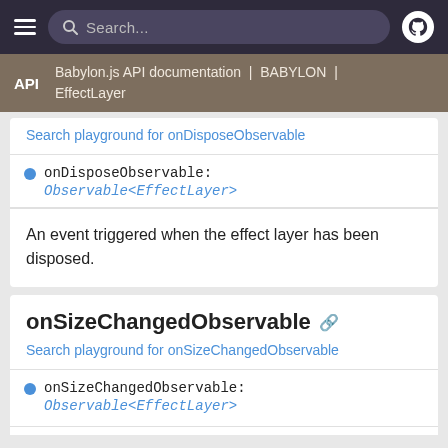Search...
API | Babylon.js API documentation | BABYLON | EffectLayer
Search playground for onDisposeObservable
onDisposeObservable: Observable<EffectLayer>
An event triggered when the effect layer has been disposed.
onSizeChangedObservable
Search playground for onSizeChangedObservable
onSizeChangedObservable: Observable<EffectLayer>